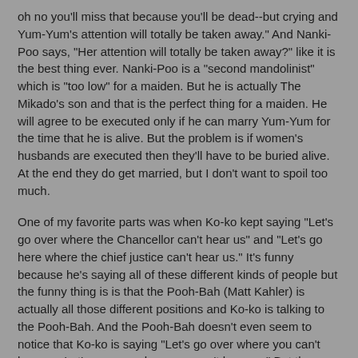oh no you'll miss that because you'll be dead--but crying and Yum-Yum's attention will totally be taken away." And Nanki-Poo says, "Her attention will totally be taken away?" like it is the best thing ever. Nanki-Poo is a "second mandolinist" which is "too low" for a maiden. But he is actually The Mikado's son and that is the perfect thing for a maiden. He will agree to be executed only if he can marry Yum-Yum for the time that he is alive. But the problem is if women's husbands are executed then they'll have to be buried alive. At the end they do get married, but I don't want to spoil too much.
One of my favorite parts was when Ko-ko kept saying "Let's go over where the Chancellor can't hear us" and "Let's go here where the chief justice can't hear us." It's funny because he's saying all of these different kinds of people but the funny thing is is that the Pooh-Bah (Matt Kahler) is actually all those different positions and Ko-ko is talking to the Pooh-Bah. And the Pooh-Bah doesn't even seem to notice that Ko-ko is saying "Let's go over where you can't hear us. Let's go over where you can't hear us." But the Pooh-Bah keeps saying "good idea" because he doesn't want to lose his positions. It was hilarious because of how it was said and how the actors acted, and the lines are also funny.
I thought it was interesting that Shawn Pfautsch played both Nanki-Poo and Katisha because Katisha is a girl who wants to marry Nanki-Poo. They can not get married if the same person is playing the person that the person is getting